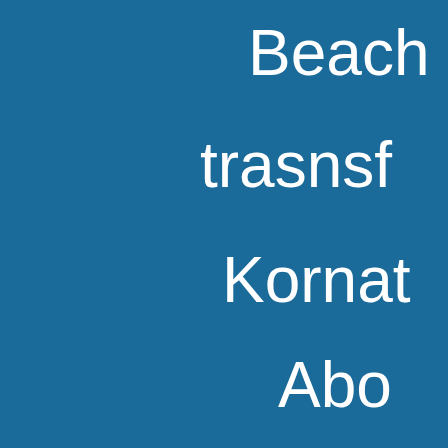Beach
trasnsf
Kornat
Abo
Kornati -